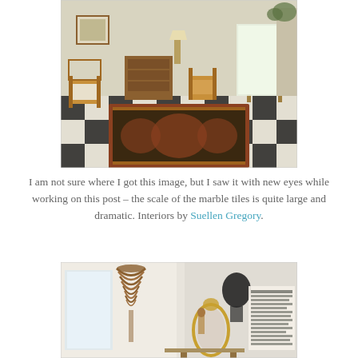[Figure (photo): Interior hallway with black and white marble checkerboard floor, Oriental runner rug, several wooden chairs, a chest of drawers, and a bright doorway with natural light. Classic elegant interior design.]
I am not sure where I got this image, but I saw it with new eyes while working on this post – the scale of the marble tiles is quite large and dramatic. Interiors by Suellen Gregory.
[Figure (photo): Interior room with a decorative spiral pendant light fixture, a mirror with an ornate gold frame, and a figurine. A magazine spread is partially visible with text on the right side.]